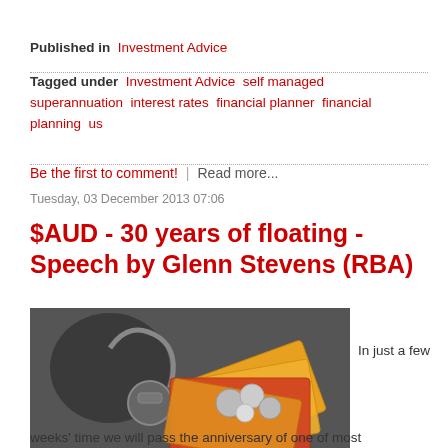Published in  Investment Advice
Tagged under  Investment Advice  self managed superannuation  interest rates  financial planner  financial planning  us
Be the first to comment!  |  Read more...
Tuesday, 03 December 2013 07:06
$AUD - 30 years of floating - Speech by Glenn Stevens (RBA)
[Figure (photo): Photo of Australian currency notes and coins fanned out alongside a stethoscope on a dark background]
In just a few weeks' time we will pass the anniversary of one of most